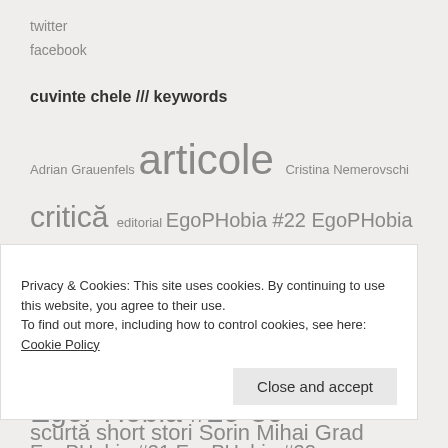twitter
facebook
cuvinte chele /// keywords
Adrian Grauenfels articole Cristina Nemerovschi critică editorial EgoPHobia #22 EgoPHobia #23 EgoPHobia #24 EgoPHobia #25 EgoPHobia #26 EgoPHobia #27 EgoPHobia #28 EgoPHobia #29-30 EgoPHobia #31 EgoPHobia #32 EgoPHobia #33 EgoPHobia #34 EgoPHobia #35 EgoPHobia #36 EgoPHobia
Privacy & Cookies: This site uses cookies. By continuing to use this website, you agree to their use.
To find out more, including how to control cookies, see here: Cookie Policy
Close and accept
scurtă short stori Sorin Mihai Grad